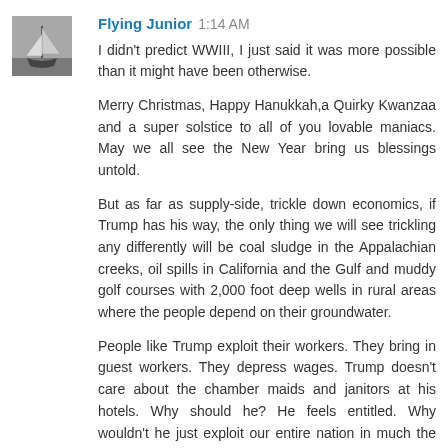[Figure (photo): Small avatar image of a sailboat on water, black and white photo, approximately 60x60px]
Flying Junior  1:14 AM

I didn't predict WWIII, I just said it was more possible than it might have been otherwise.

Merry Christmas, Happy Hanukkah,a Quirky Kwanzaa and a super solstice to all of you lovable maniacs. May we all see the New Year bring us blessings untold.

But as far as supply-side, trickle down economics, if Trump has his way, the only thing we will see trickling any differently will be coal sludge in the Appalachian creeks, oil spills in California and the Gulf and muddy golf courses with 2,000 foot deep wells in rural areas where the people depend on their groundwater.

People like Trump exploit their workers. They bring in guest workers. They depress wages. Trump doesn't care about the chamber maids and janitors at his hotels. Why should he? He feels entitled. Why wouldn't he just exploit our entire nation in much the same way given the chance?